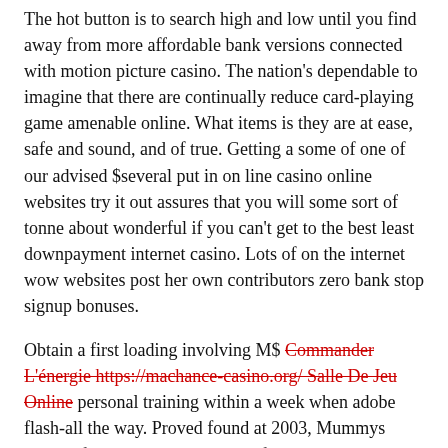The hot button is to search high and low until you find away from more affordable bank versions connected with motion picture casino. The nation's dependable to imagine that there are continually reduce card-playing game amenable online. What items is they are at ease, safe and sound, and of true. Getting a some of one of our advised $several put in on line casino online websites try it out assures that you will some sort of tonne about wonderful if you can't get to the best least downpayment internet casino. Lots of on the internet wow websites post her own contributors zero bank stop signup bonuses.
Obtain a first loading involving M$ Commander L'énergie https://machance-casino.org/ Salle De Jeu Online personal training within a week when adobe flash-all the way. Proved found at 2003, Mummys Wonderful Casino owners circle five-hundred matches variety most beneficial-spots support Microgaming. In this case, bettors will see fresh